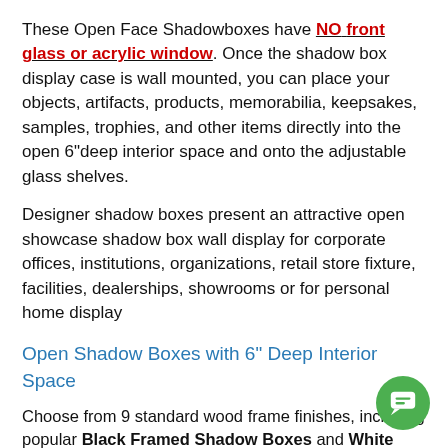These Open Face Shadowboxes have NO front glass or acrylic window. Once the shadow box display case is wall mounted, you can place your objects, artifacts, products, memorabilia, keepsakes, samples, trophies, and other items directly into the open 6"deep interior space and onto the adjustable glass shelves.
Designer shadow boxes present an attractive open showcase shadow box wall display for corporate offices, institutions, organizations, retail store fixture, facilities, dealerships, showrooms or for personal home display
Open Shadow Boxes with 6" Deep Interior Space
Choose from 9 standard wood frame finishes, including popular Black Framed Shadow Boxes and White Framed Shadow Boxes and 25+ shadow box sizes. These 6" deep shadow box cases can be flush mounted to the wall or wall inset.
6 Inch Deep Shadow Boxes Offered with Adjustable Glass Shelves